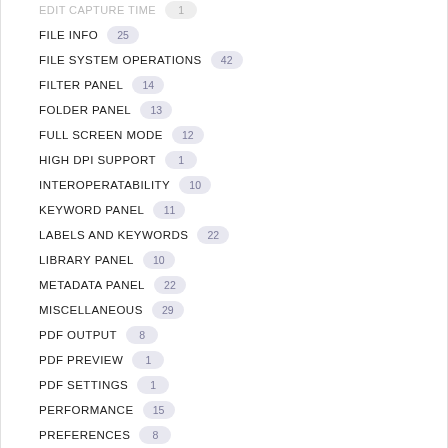FILE INFO 25
FILE SYSTEM OPERATIONS 42
FILTER PANEL 14
FOLDER PANEL 13
FULL SCREEN MODE 12
HIGH DPI SUPPORT 1
INTEROPERATABILITY 10
KEYWORD PANEL 11
LABELS AND KEYWORDS 22
LIBRARY PANEL 10
METADATA PANEL 22
MISCELLANEOUS 29
PDF OUTPUT 8
PDF PREVIEW 1
PDF SETTINGS 1
PERFORMANCE 15
PREFERENCES 8
PREVIEW PANEL 24
PUBLISH PANEL 1
REVIEW MODE 5